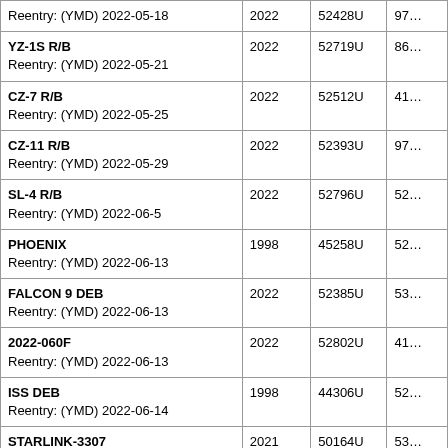| Name | Year | NORAD ID | Col4 |
| --- | --- | --- | --- |
| Reentry: (YMD) 2022-05-18 | 2022 | 52428U | 97… |
| YZ-1S R/B
Reentry: (YMD) 2022-05-21 | 2022 | 52719U | 86… |
| CZ-7 R/B
Reentry: (YMD) 2022-05-25 | 2022 | 52512U | 41… |
| CZ-11 R/B
Reentry: (YMD) 2022-05-29 | 2022 | 52393U | 97… |
| SL-4 R/B
Reentry: (YMD) 2022-06-5 | 2022 | 52796U | 52… |
| PHOENIX
Reentry: (YMD) 2022-06-13 | 1998 | 45258U | 52… |
| FALCON 9 DEB
Reentry: (YMD) 2022-06-13 | 2022 | 52385U | 53… |
| 2022-060F
Reentry: (YMD) 2022-06-13 | 2022 | 52802U | 41… |
| ISS DEB
Reentry: (YMD) 2022-06-14 | 1998 | 44306U | 52… |
| STARLINK-3307
Reentry: (YMD) 2022-06-16 | 2021 | 50164U | 53… |
| FALCON 9 DEB
Reentry: (YMD) 2022-06-17 | 2022 | 52507U | 53… |
| FALCON 9 DEB
Reentry: (YMD) 2022-06-17 | 2022 | 52506U | 53… |